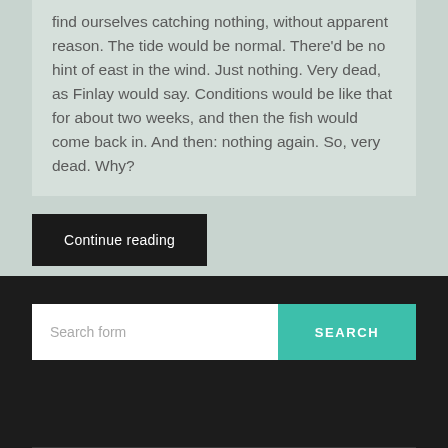find ourselves catching nothing, without apparent reason. The tide would be normal. There'd be no hint of east in the wind. Just nothing. Very dead, as Finlay would say. Conditions would be like that for about two weeks, and then the fish would come back in. And then: nothing again. So, very dead. Why?
Continue reading
Search form
SEARCH